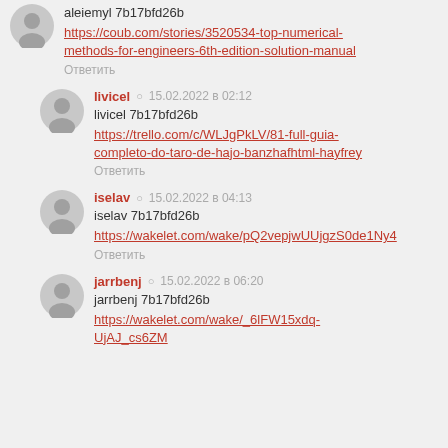aleiemyl 7b17bfd26b
https://coub.com/stories/3520534-top-numerical-methods-for-engineers-6th-edition-solution-manual
Ответить
livicel  15.02.2022 в 02:12
livicel 7b17bfd26b
https://trello.com/c/WLJgPkLV/81-full-guia-completo-do-taro-de-hajo-banzhafhtml-hayfrey
Ответить
iselav  15.02.2022 в 04:13
iselav 7b17bfd26b
https://wakelet.com/wake/pQ2vepjwUUjgzS0de1Ny4
Ответить
jarrbenj  15.02.2022 в 06:20
jarrbenj 7b17bfd26b
https://wakelet.com/wake/_6lFW15xdq-UjAJ_cs6ZM